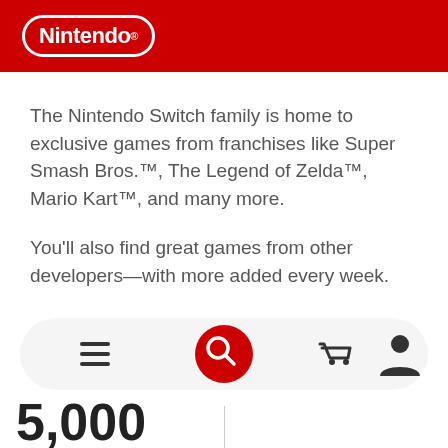Nintendo®
The Nintendo Switch family is home to exclusive games from franchises like Super Smash Bros.™, The Legend of Zelda™, Mario Kart™, and many more.
You'll also find great games from other developers—with more added every week.
[Figure (infographic): Bottom navigation bar with hamburger menu, heart/favorites icon, red search button, shopping cart icon, and user profile icon]
5,000